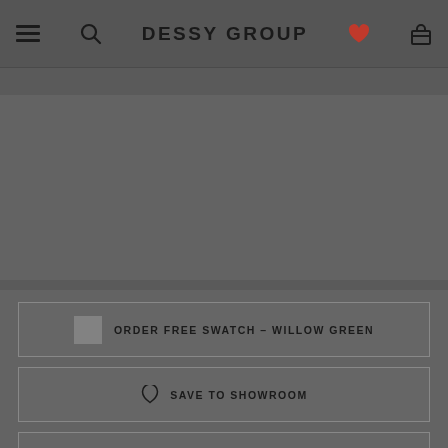DESSY GROUP
[Figure (screenshot): Gray content area placeholder — product image region]
ORDER FREE SWATCH – WILLOW GREEN
SAVE TO SHOWROOM
CONTACT STYLIST
CONTACT RETAILER